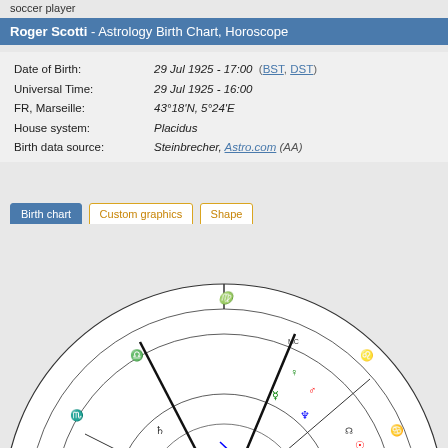soccer player
Roger Scotti - Astrology Birth Chart, Horoscope
Date of Birth: 29 Jul 1925 - 17:00 (BST, DST)
Universal Time: 29 Jul 1925 - 16:00
FR, Marseille: 43°18'N, 5°24'E
House system: Placidus
Birth data source: Steinbrecher, Astro.com (AA)
Birth chart | Custom graphics | Shape
[Figure (other): Astrological birth chart (horoscope wheel) showing planetary positions for Roger Scotti born 29 Jul 1925. The circular chart shows zodiac signs, house divisions, and planetary symbols with aspect lines in red and blue.]